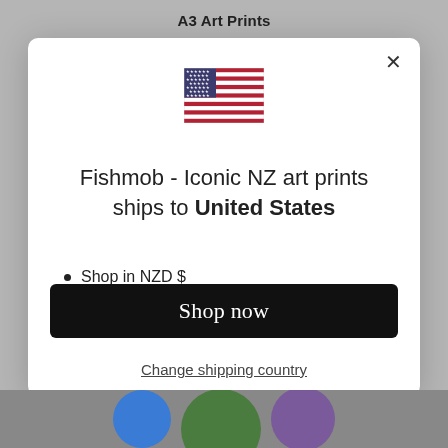A3 Art Prints
[Figure (illustration): US flag emoji inside a modal dialog popup]
Fishmob - Iconic NZ art prints ships to United States
Shop in NZD $
Get shipping options for United States
Shop now
Change shipping country